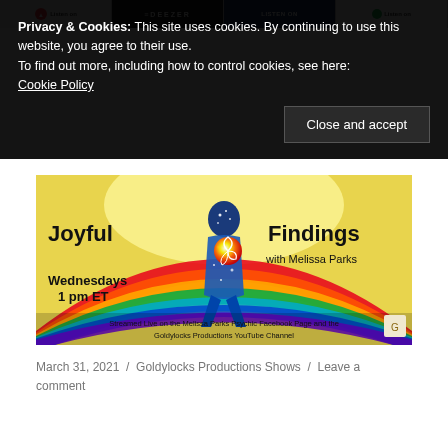[Figure (screenshot): Top banner strip showing podcast platform icons: Apple Podcasts, Deezer, Listen On, Spotify]
Privacy & Cookies: This site uses cookies. By continuing to use this website, you agree to their use.
To find out more, including how to control cookies, see here:
Cookie Policy
Close and accept
[Figure (illustration): Joyful Findings with Melissa Parks promotional image. A colorful silhouette of a person with a cosmic/starry body holding a flower, surrounded by rainbow gradient arcs. Text reads: Joyful Findings, with Melissa Parks, Wednesdays 1 pm ET, Streamed Live on the Melissa Parks Psychic Facebook Page and the Goldylocks Productions YouTube Channel.]
March 31, 2021 / Goldylocks Productions Shows / Leave a comment